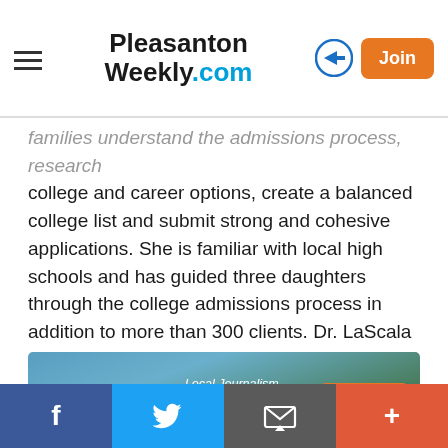Pleasanton Weekly.com — navigation header with hamburger menu, logo, login arrow, and Join button
families understand the admissions process, research college and career options, create a balanced college list and submit strong and cohesive applications. She is familiar with local high schools and has guided three daughters through the college admissions process in addition to more than 300 clients. Dr. LaScala is an active member of NACAC, WACAC, and HECA and earned a certification in College Admissions and Career Planning from University of California at Berkeley. Contact her at (925) 891-4491 or elizabeth@doingcollege.com.
[Figure (other): Pleasanton Weekly.com advertisement banner with tagline 'Local Journalism. What is it worth to you?' and Subscribe button]
Social share bar: Facebook, Twitter, Email, Plus